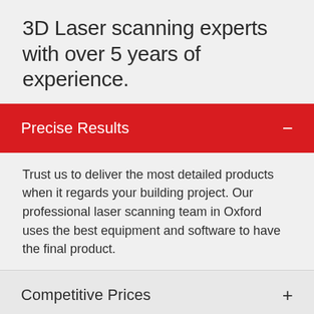3D Laser scanning experts with over 5 years of experience.
Precise Results
Trust us to deliver the most detailed products when it regards your building project. Our professional laser scanning team in Oxford uses the best equipment and software to have the final product.
Competitive Prices
Friendly Service